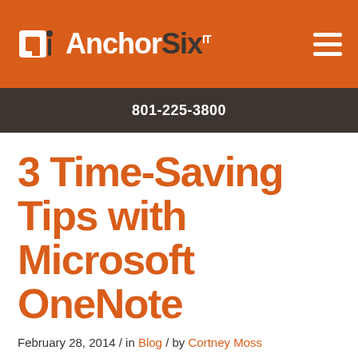AnchorSix IT — 801-225-3800
3 Time-Saving Tips with Microsoft OneNote
February 28, 2014 / in Blog / by Cortney Moss
Microsoft's Note-taking application is